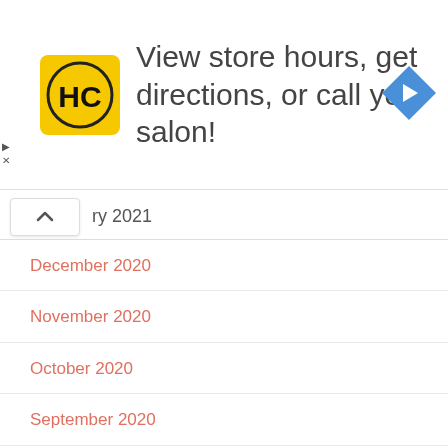[Figure (other): HC salon logo in yellow square]
View store hours, get directions, or call your salon!
[Figure (other): Blue diamond navigation arrow icon]
ry 2021
December 2020
November 2020
October 2020
September 2020
August 2020
July 2020
June 2020
May 2020